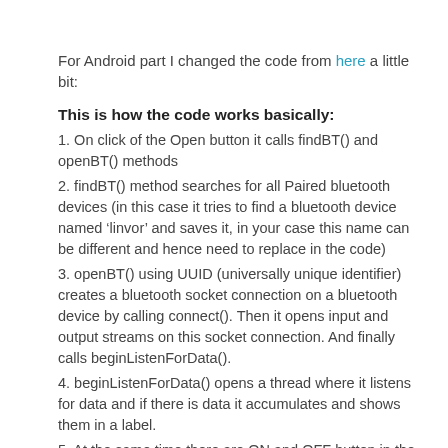For Android part I changed the code from here a little bit:
This is how the code works basically:
1. On click of the Open button it calls findBT() and openBT() methods
2. findBT() method searches for all Paired bluetooth devices (in this case it tries to find a bluetooth device named ‘linvor’ and saves it, in your case this name can be different and hence need to replace in the code)
3. openBT() using UUID (universally unique identifier) creates a bluetooth socket connection on a bluetooth device by calling connect(). Then it opens input and output streams on this socket connection. And finally calls beginListenForData().
4. beginListenForData() opens a thread where it listens for data and if there is data it accumulates and shows them in a label.
5. At the same time there are ON and OFF button in the interface which sends data via output stream, thread is still running and listening for data.
6. Arduino received the data by his bluetooth companion and acts on that data using his logic also replies back to the